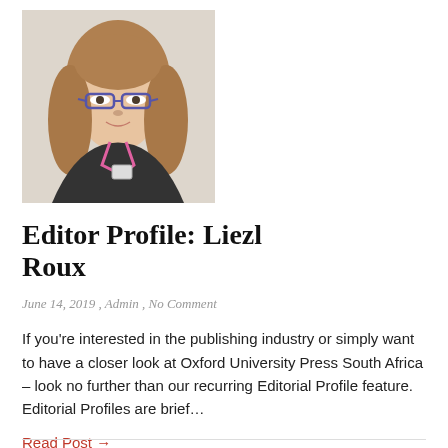[Figure (photo): Headshot photograph of a young woman with glasses and long brownish hair, wearing a dark jacket and a pink lanyard, against a light background.]
Editor Profile: Liezl Roux
June 14, 2019 , Admin , No Comment
If you're interested in the publishing industry or simply want to have a closer look at Oxford University Press South Africa – look no further than our recurring Editorial Profile feature. Editorial Profiles are brief…
Read Post →